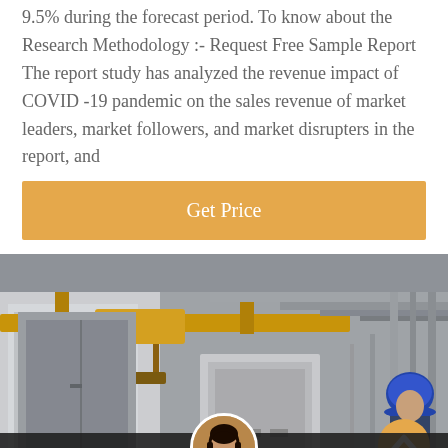9.5% during the forecast period. To know about the Research Methodology :- Request Free Sample Report The report study has analyzed the revenue impact of COVID -19 pandemic on the sales revenue of market leaders, market followers, and market disrupters in the report, and
[Figure (other): Orange 'Get Price' call-to-action button]
[Figure (photo): Industrial factory interior with overhead crane/hoist in yellow color, metal ductwork pipes on ceiling, large equipment panels/cabinets, worker in blue hard hat visible on right side]
Leave Message   Chat Online